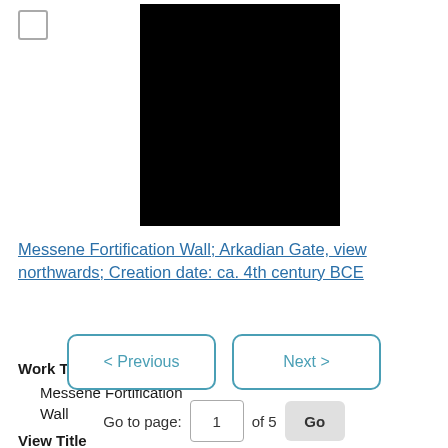[Figure (photo): Black rectangle representing a redacted or unavailable image of the Messene Fortification Wall, Arkadian Gate]
Messene Fortification Wall; Arkadian Gate, view northwards; Creation date: ca. 4th century BCE
Work Title
Messene Fortification Wall
View Title
< Previous   Next >
Go to page: 1 of 5 Go